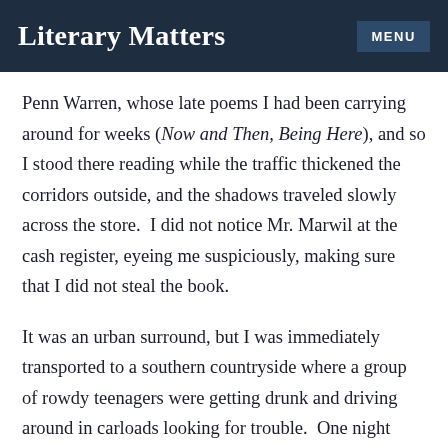Literary Matters | MENU
Penn Warren, whose late poems I had been carrying around for weeks (Now and Then, Being Here), and so I stood there reading while the traffic thickened the corridors outside, and the shadows traveled slowly across the store.  I did not notice Mr. Marwil at the cash register, eyeing me suspiciously, making sure that I did not steal the book.
It was an urban surround, but I was immediately transported to a southern countryside where a group of rowdy teenagers were getting drunk and driving around in carloads looking for trouble.  One night they were vandalizing the local cemetery, walking through a valley of tombs with crowbars